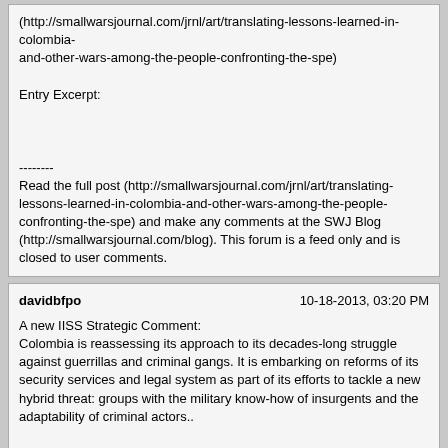(http://smallwarsjournal.com/jrnl/art/translating-lessons-learned-in-colombia-and-other-wars-among-the-people-confronting-the-spe)

Entry Excerpt:


--------
Read the full post (http://smallwarsjournal.com/jrnl/art/translating-lessons-learned-in-colombia-and-other-wars-among-the-people-confronting-the-spe) and make any comments at the SWJ Blog (http://smallwarsjournal.com/blog). This forum is a feed only and is closed to user comments.
davidbfpo | 10-18-2013, 03:20 PM

A new IISS Strategic Comment:
Colombia is reassessing its approach to its decades-long struggle against guerrillas and criminal gangs. It is embarking on reforms of its security services and legal system as part of its efforts to tackle a new hybrid threat: groups with the military know-how of insurgents and the adaptability of criminal actors..

Link:http://www.iiss.org/en/publications/strategic%20comments%20-%20update%20v2/sections/2013-a8b5/colombia--new-approach-to-guerrilla-threat-635f
SWJ Blog | 12-22-2013, 06:36 AM

Covert Action in Colombia (http://smallwarsjournal.com/blog/covert-action-in-colombia)

Entry Excerpt:


-------